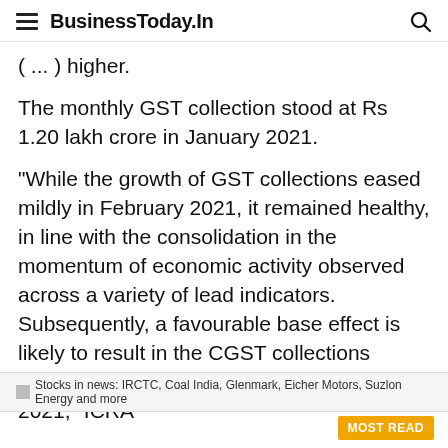BusinessToday.In
( ... ) higher.
The monthly GST collection stood at Rs 1.20 lakh crore in January 2021.
"While the growth of GST collections eased mildly in February 2021, it remained healthy, in line with the consolidation in the momentum of economic activity observed across a variety of lead indicators. Subsequently, a favourable base effect is likely to result in the CGST collections expanding by 18-23 per cent in March 2021," ICRA
Stocks in news: IRCTC, Coal India, Glenmark, Eicher Motors, Suzlon Energy and more